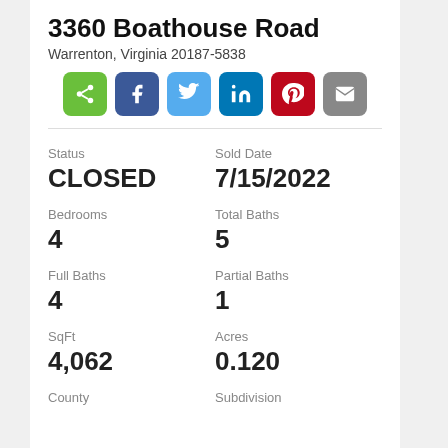3360 Boathouse Road
Warrenton, Virginia 20187-5838
[Figure (infographic): Row of social sharing buttons: share (green), Facebook (dark blue), Twitter (light blue), LinkedIn (blue), Pinterest (red), Email (gray)]
Status
CLOSED
Sold Date
7/15/2022
Bedrooms
4
Total Baths
5
Full Baths
4
Partial Baths
1
SqFt
4,062
Acres
0.120
County
Subdivision